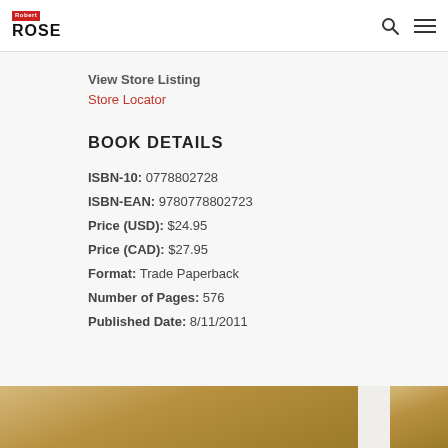Robert Rose (logo) — Search and Menu icons
View Store Listing
Store Locator
BOOK DETAILS
ISBN-10: 0778802728
ISBN-EAN: 9780778802723
Price (USD): $24.95
Price (CAD): $27.95
Format: Trade Paperback
Number of Pages: 576
Published Date: 8/11/2011
[Figure (photo): Partial book cover image visible at bottom of page, golden/warm tones]